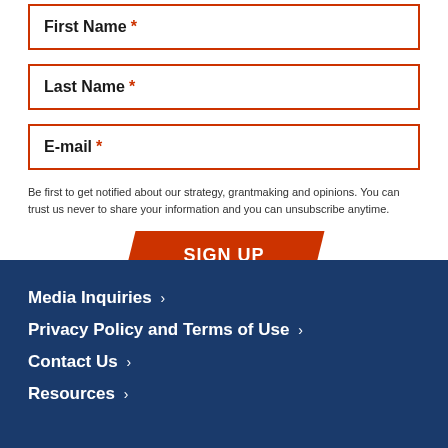First Name *
Last Name *
E-mail *
Be first to get notified about our strategy, grantmaking and opinions. You can trust us never to share your information and you can unsubscribe anytime.
SIGN UP
Media Inquiries ›
Privacy Policy and Terms of Use ›
Contact Us ›
Resources ›